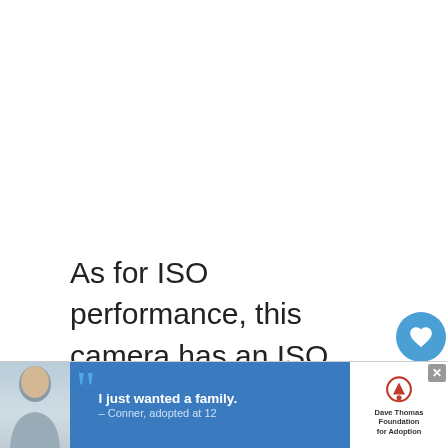[Figure (photo): White/blank area at the top of the page (image not visible)]
As for ISO performance, this camera has an ISO range of 100 – 25000, however, from my experience, I found the best image quality to be under ISO400.
When it comes to video quality, this camera can record at Full HD 1920×1080 video in cinematic
[Figure (infographic): Advertisement banner: Dave Thomas Foundation for Adoption. Shows a boy with quote: I just wanted a family. — Conner, adopted at 12]